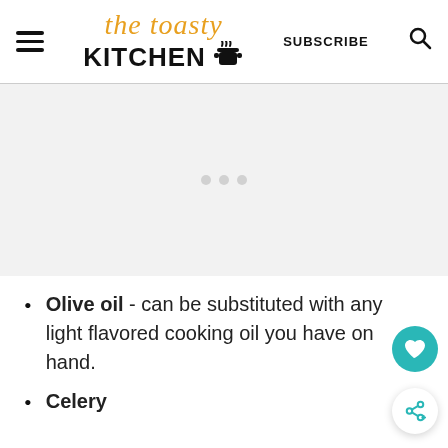The Toasty Kitchen | SUBSCRIBE
[Figure (photo): Gray placeholder image area with faint dots in the center]
Olive oil - can be substituted with any light flavored cooking oil you have on hand.
Celery